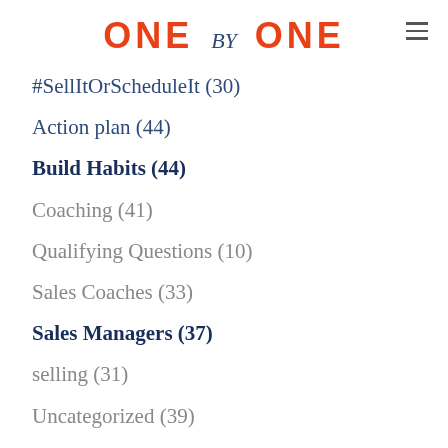ONE by ONE
#SellItOrScheduleIt (30)
Action plan (44)
Build Habits (44)
Coaching (41)
Qualifying Questions (10)
Sales Coaches (33)
Sales Managers (37)
selling (31)
Uncategorized (39)
Achieve (31)
Interactions (29)
Opportunities (41)